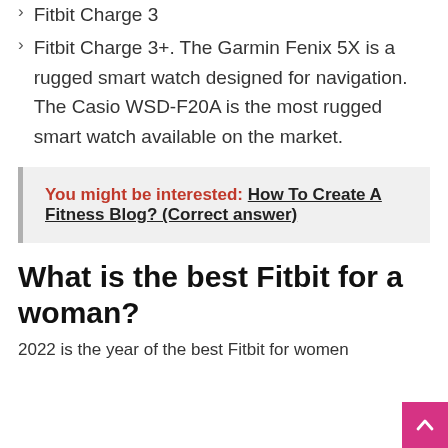Fitbit Charge 3
Fitbit Charge 3+. The Garmin Fenix 5X is a rugged smart watch designed for navigation. The Casio WSD-F20A is the most rugged smart watch available on the market.
You might be interested:  How To Create A Fitness Blog? (Correct answer)
What is the best Fitbit for a woman?
2022 is the year of the best Fitbit for women